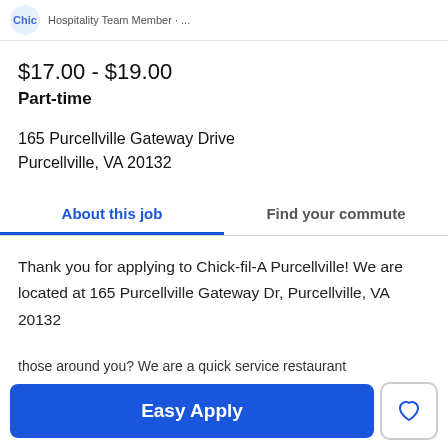Chic · Hospitality Team Member · ...
$17.00 - $19.00
Part-time
165 Purcellville Gateway Drive
Purcellville, VA 20132
About this job | Find your commute
Thank you for applying to Chick-fil-A Purcellville! We are located at 165 Purcellville Gateway Dr, Purcellville, VA 20132
Easy Apply
those around you? We are a quick service restaurant